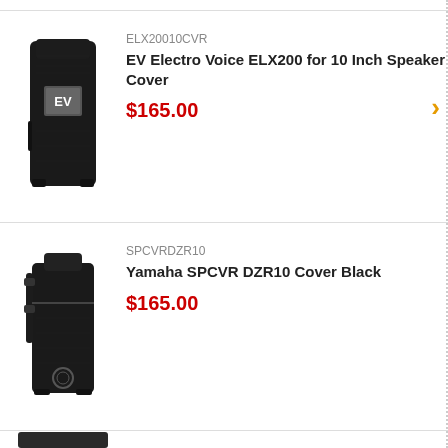[Figure (photo): EV Electro Voice ELX200 speaker cover product image - black speaker cover with EV logo]
ELX20010CVR
EV Electro Voice ELX200 for 10 Inch Speaker Cover
$165.00
[Figure (photo): Yamaha SPCVR DZR10 Cover Black product image - black speaker bag/cover]
SPCVRDZR10
Yamaha SPCVR DZR10 Cover Black
$165.00